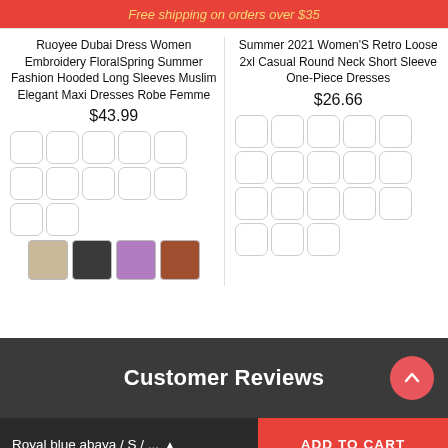Free shipping on orders over $35
Ruoyee Dubai Dress Women Embroidery FloralSpring Summer Fashion Hooded Long Sleeves Muslim Elegant Maxi Dresses Robe Femme
$43.99
[Figure (other): Color/style swatch grid (12 empty swatches) for first product]
[Figure (photo): 4 thumbnail product images for first dress]
Summer 2021 Women'S Retro Loose 2xl Casual Round Neck Short Sleeve One-Piece Dresses
$26.66
[Figure (other): Color/style swatch grid (18 empty swatches) for second product]
Customer Reviews
Royal blue abaya / S / ...
ADD TO CART